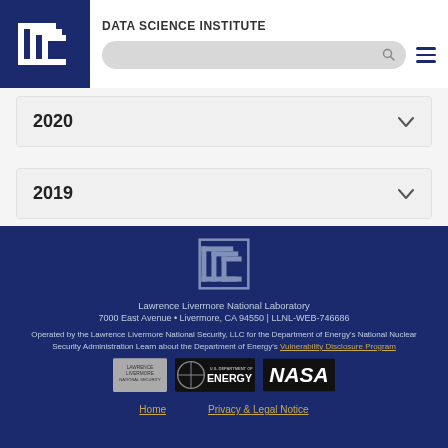DATA SCIENCE INSTITUTE
2020
2019
2018
[Figure (logo): Lawrence Livermore National Laboratory logo (white version) in footer]
Lawrence Livermore National Laboratory
7000 East Avenue • Livermore, CA 94550 | LLNL-WEB-746686
Operated by the Lawrence Livermore National Security, LLC for the Department of Energy's National Nuclear Security Administration Learn about the Department of Energy's Vulnerability Disclosure Program
[Figure (logo): Lawrence Livermore National Security logo badge]
[Figure (logo): U.S. Department of Energy logo]
[Figure (logo): NASA logo]
Home    Privacy & Legal Notice